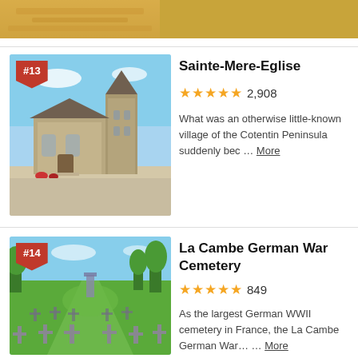[Figure (photo): Partial top image, sandy/golden texture from entry above]
[Figure (photo): Photo of Sainte-Mere-Eglise church, a stone Romanesque church with tower against blue sky, with red flower beds in front]
Sainte-Mere-Eglise
★★★★★ 2,908
What was an otherwise little-known village of the Cotentin Peninsula suddenly bec … More
[Figure (photo): Photo of La Cambe German War Cemetery, showing rows of dark cross grave markers on green grass with trees in background]
La Cambe German War Cemetery
★★★★★ 849
As the largest German WWII cemetery in France, the La Cambe German War… … More